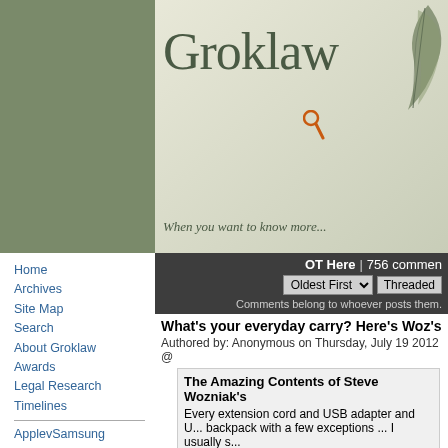[Figure (screenshot): Groklaw website header banner with logo text and tagline 'When you want to know more...' on sage green background with leaf decoration]
OT Here | 756 comments | Oldest First | Threaded
Comments belong to whoever posts them.
What's your everyday carry? Here's Woz's
Authored by: Anonymous on Thursday, July 19 2012 @
The Amazing Contents of Steve Wozniak's...
Every extension cord and USB adapter and U... backpack with a few exceptions ... I usually s...
Gizmodo
[ Reply to This | Parent | # ]
What's your everyday carry? Here's Woz's - 01:59 AM EDT
The downfall of the Vile Monopoly.....
Authored by: tiger99 on Thursday, July 19 2012 @ 08:
Just seen on BBC TV news. M$ has posted their first...
Home
Archives
Site Map
Search
About Groklaw
Awards
Legal Research
Timelines
ApplevSamsung
ApplevSamsung p.2
ArchiveExplorer
Autozone
Bilski
Cases
Cast: Lawyers
Comes v. MS
Contracts/Documents
Courts
DRM
Gordon v MS
GPL
Grokdoc
HTML How To